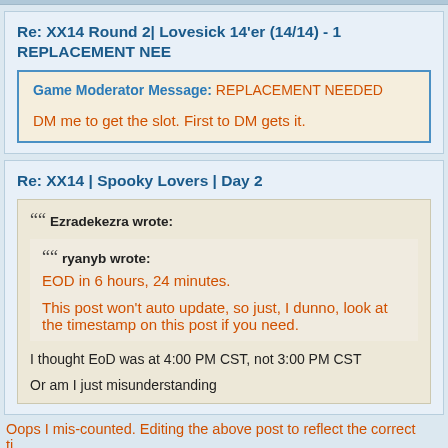Re: XX14 Round 2| Lovesick 14'er (14/14) - 1 REPLACEMENT NEE
Game Moderator Message: REPLACEMENT NEEDED

DM me to get the slot. First to DM gets it.
Re: XX14 | Spooky Lovers | Day 2
Ezradekezra wrote:
  ryanyb wrote:
  EOD in 6 hours, 24 minutes.

  This post won't auto update, so just, I dunno, look at the timestamp on this post if you need.

I thought EoD was at 4:00 PM CST, not 3:00 PM CST

Or am I just misunderstanding
Oops I mis-counted. Editing the above post to reflect the correct ti...